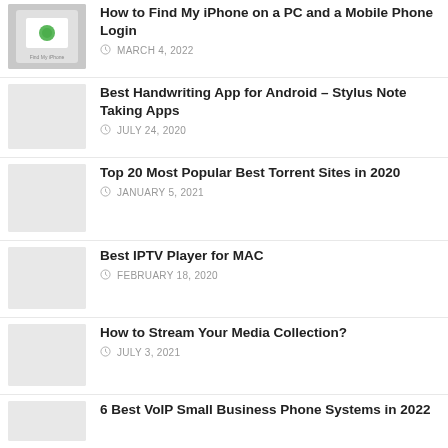[Figure (photo): Thumbnail image of 'Find My iPhone' screen on a white surface]
How to Find My iPhone on a PC and a Mobile Phone Login
MARCH 4, 2022
[Figure (photo): Thumbnail image placeholder (light gray)]
Best Handwriting App for Android – Stylus Note Taking Apps
JULY 24, 2020
[Figure (photo): Thumbnail image placeholder (light gray)]
Top 20 Most Popular Best Torrent Sites in 2020
JANUARY 5, 2021
[Figure (photo): Thumbnail image placeholder (light gray)]
Best IPTV Player for MAC
FEBRUARY 18, 2020
[Figure (photo): Thumbnail image placeholder (light gray)]
How to Stream Your Media Collection?
JULY 3, 2021
[Figure (photo): Thumbnail image placeholder (light gray)]
6 Best VoIP Small Business Phone Systems in 2022